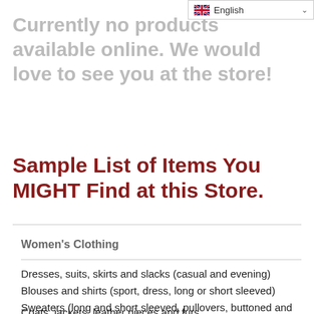English
Currently no products available online. We would love to see you at the store!
Sample List of Items You MIGHT Find at this Store.
Women's Clothing
Dresses, suits, skirts and slacks (casual and evening)
Blouses and shirts (sport, dress, long or short sleeved)
Sweaters (long and short sleeved, pullovers, buttoned and zippered)
Coats, jackets, leather pieces and furs...